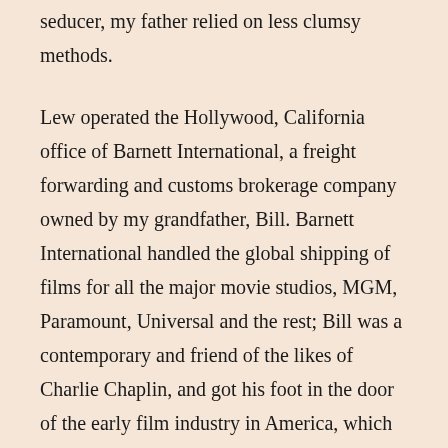seducer, my father relied on less clumsy methods.
Lew operated the Hollywood, California office of Barnett International, a freight forwarding and customs brokerage company owned by my grandfather, Bill. Barnett International handled the global shipping of films for all the major movie studios, MGM, Paramount, Universal and the rest; Bill was a contemporary and friend of the likes of Charlie Chaplin, and got his foot in the door of the early film industry in America, which was then headquartered in New York. The youngest of three brothers, Lew never married and by all accounts loved being in Hollywood where he could hobnob with players in the film industry. Whether to get Lew off his back by sending him to California or setting him up with a job out of filial loyalty remains an